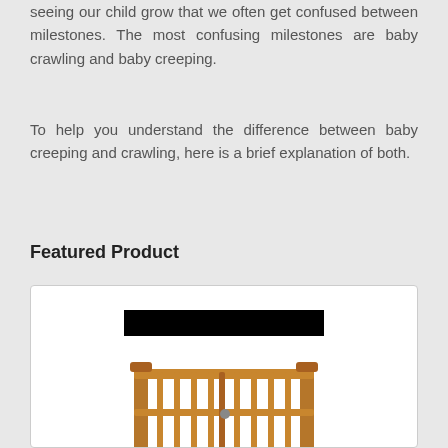seeing our child grow that we often get confused between milestones. The most confusing milestones are baby crawling and baby creeping.
To help you understand the difference between baby creeping and crawling, here is a brief explanation of both.
Featured Product
[Figure (photo): Product card showing a wooden baby stair gate (Summer Banister and Stair Gate With Dual Installation Kit) with two black redacted bars — one above and one below the product image.]
Summer Banister and Stair Gate With Dual Installation Kit